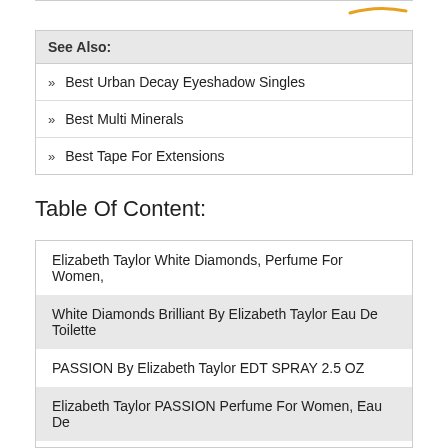See Also:
» Best Urban Decay Eyeshadow Singles
» Best Multi Minerals
» Best Tape For Extensions
Table Of Content:
Elizabeth Taylor White Diamonds, Perfume For Women,
White Diamonds Brilliant By Elizabeth Taylor Eau De Toilette
PASSION By Elizabeth Taylor EDT SPRAY 2.5 OZ
Elizabeth Taylor PASSION Perfume For Women, Eau De
White Diamonds Night Eau De Toilette Spray Naturel 1 Fl. Oz.
Elizabeth Taylor White Diamonds Legacy 3 Piece Fragrance